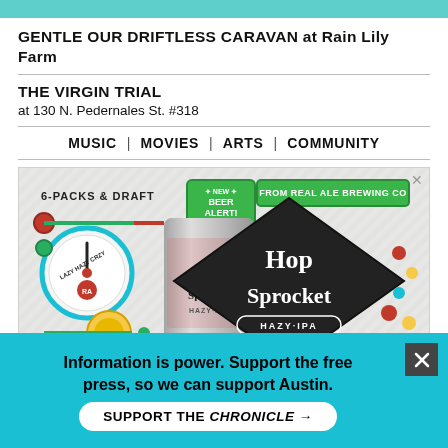[Figure (photo): Partial top image strip showing teal/cyan background with a partial figure visible]
GENTLE OUR DRIFTLESS CARAVAN at Rain Lily Farm
THE VIRGIN TRIAL
at 130 N. Pedernales St. #318
MUSIC | MOVIES | ARTS | COMMUNITY
[Figure (illustration): Advertisement for Hop Sprocket Hazy IPA from Real Ale Brewing Co. featuring a colorful illustrated beer can with steampunk-style gauges and machinery, showing 6-packs & draft, new beer alert label]
Information is power. Support the free press, so we can support Austin.
SUPPORT THE CHRONICLE →